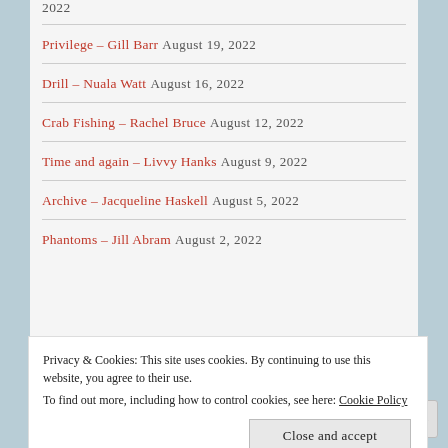2022
Privilege – Gill Barr August 19, 2022
Drill – Nuala Watt August 16, 2022
Crab Fishing – Rachel Bruce August 12, 2022
Time and again – Livvy Hanks August 9, 2022
Archive – Jacqueline Haskell August 5, 2022
Phantoms – Jill Abram August 2, 2022
Privacy & Cookies: This site uses cookies. By continuing to use this website, you agree to their use. To find out more, including how to control cookies, see here: Cookie Policy
Close and accept